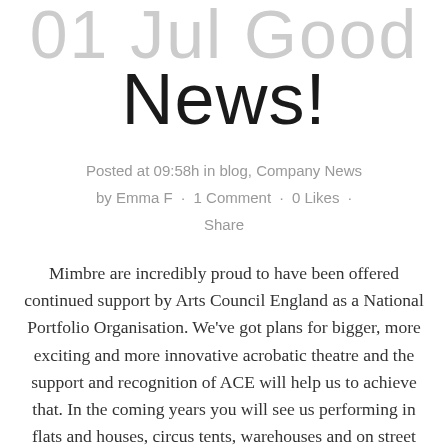01 Jul Good News!
Posted at 09:58h in blog, Company News by Emma F · 1 Comment · 0 Likes · Share
Mimbre are incredibly proud to have been offered continued support by Arts Council England as a National Portfolio Organisation. We've got plans for bigger, more exciting and more innovative acrobatic theatre and the support and recognition of ACE will help us to achieve that. In the coming years you will see us performing in flats and houses, circus tents, warehouses and on street corners and you will also have increasing